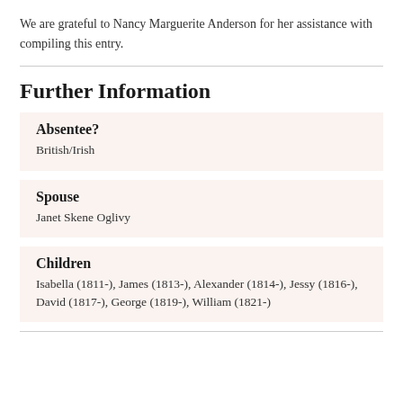We are grateful to Nancy Marguerite Anderson for her assistance with compiling this entry.
Further Information
Absentee?
British/Irish
Spouse
Janet Skene Oglivy
Children
Isabella (1811-), James (1813-), Alexander (1814-), Jessy (1816-), David (1817-), George (1819-), William (1821-)